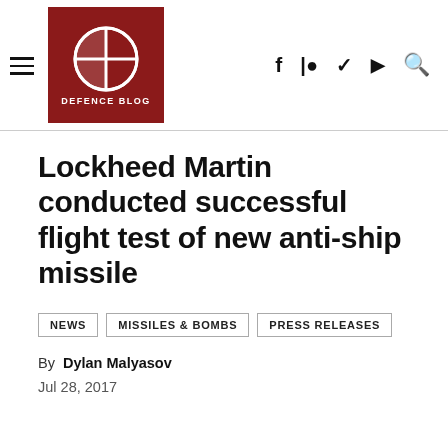Defence Blog - navigation header with logo and social icons
Lockheed Martin conducted successful flight test of new anti-ship missile
NEWS
MISSILES & BOMBS
PRESS RELEASES
By Dylan Malyasov
Jul 28, 2017